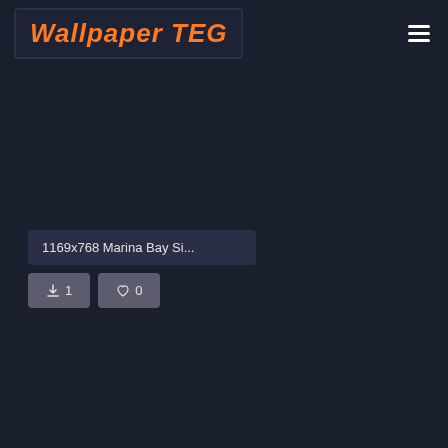Wallpaper TEG
1169x768 Marina Bay Si...
1   0